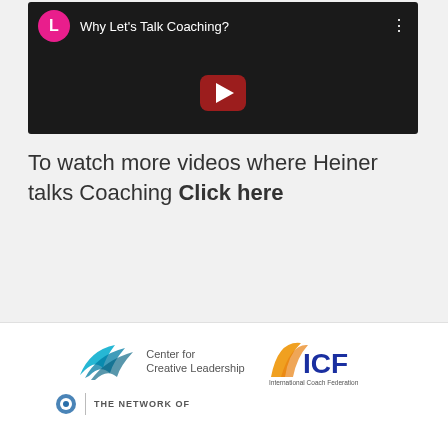[Figure (screenshot): YouTube video thumbnail showing 'Why Let's Talk Coaching?' with a pink avatar circle labeled 'L', a red play button, and three-dot menu on dark background]
To watch more videos where Heiner talks Coaching Click here
[Figure (logo): Center for Creative Leadership logo with teal/blue wing graphic]
[Figure (logo): ICF International Coach Federation logo with orange and blue design]
THE NETWORK OF